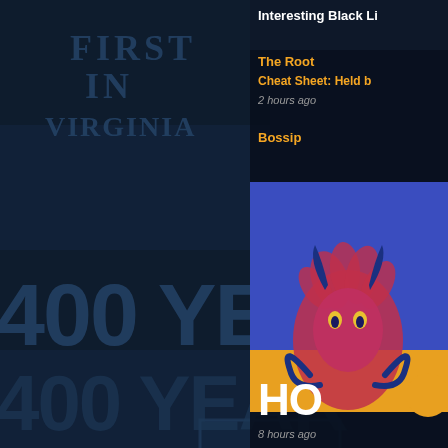[Figure (screenshot): Screenshot of a news aggregator or website sidebar. Left portion shows a dark photo/graphic collage featuring text '400 YEARS' and 'FIRST IN VIRGINIA' repeated. Right sidebar shows 'Interesting Black Li...' header with news items: The Root - 'Cheat Sheet: Held b...' 2 hours ago; Bossip with a colorful illustrated image of a devil/ram figure in blue, pink, orange, labeled 'HO...' 8 hours ago.]
Interesting Black Li
The Root
Cheat Sheet: Held b
2 hours ago
Bossip
HO
8 hours ago